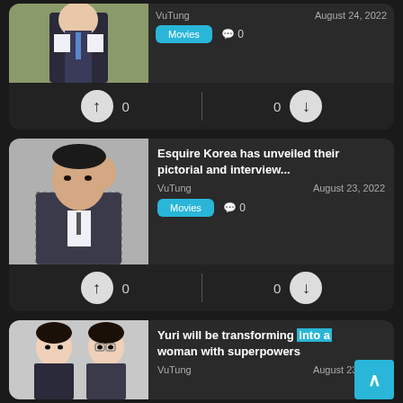[Figure (photo): Partial top card showing a man in suit with blue tie, and vote row with upvote 0 and downvote 0]
VuTung
August 24, 2022
Movies
0
0
0
Esquire Korea has unveiled their pictorial and interview...
VuTung
August 23, 2022
Movies
0
0
0
[Figure (photo): Man posing with hand near face, wearing checked blazer, gray background]
Yuri will be transforming into a woman with superpowers
[Figure (photo): Two women standing side by side, partial bottom card]
VuTung
August 23, 2022